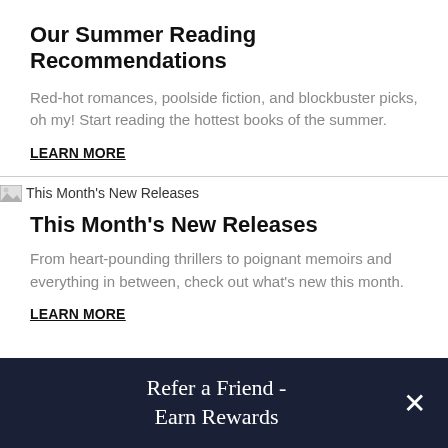Our Summer Reading Recommendations
Red-hot romances, poolside fiction, and blockbuster picks, oh my! Start reading the hottest books of the summer.
LEARN MORE
[Figure (photo): This Month's New Releases image placeholder]
This Month's New Releases
From heart-pounding thrillers to poignant memoirs and everything in between, check out what's new this month.
LEARN MORE
Refer a Friend - Earn Rewards